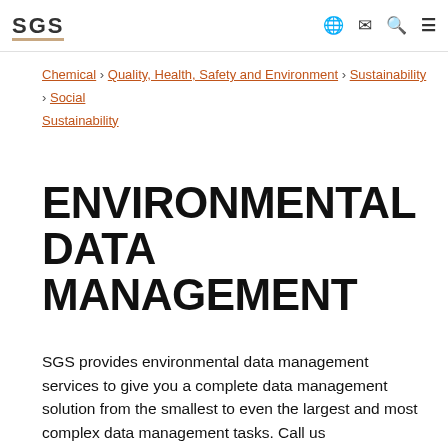SGS | Chemical › Quality, Health, Safety and Environment › Sustainability › Social Sustainability
Chemical › Quality, Health, Safety and Environment › Sustainability › Social Sustainability
ENVIRONMENTAL DATA MANAGEMENT
SGS provides environmental data management services to give you a complete data management solution from the smallest to even the largest and most complex data management tasks. Call us